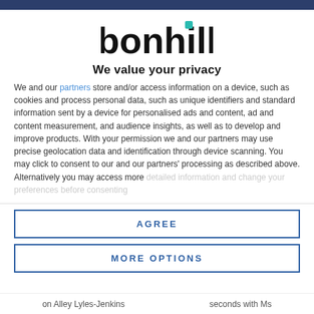[Figure (logo): Bonhill logo with teal accent dot above the 'i']
We value your privacy
We and our partners store and/or access information on a device, such as cookies and process personal data, such as unique identifiers and standard information sent by a device for personalised ads and content, ad and content measurement, and audience insights, as well as to develop and improve products. With your permission we and our partners may use precise geolocation data and identification through device scanning. You may click to consent to our and our partners' processing as described above. Alternatively you may access more detailed information and change your preferences before consenting
AGREE
MORE OPTIONS
on Alley Lyles-Jenkins          seconds with Ms